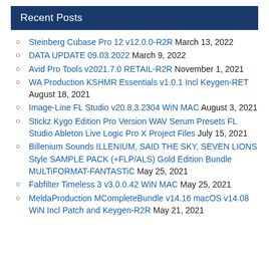Recent Posts
Steinberg Cubase Pro 12 v12.0.0-R2R March 13, 2022
DATA UPDATE 09.03.2022 March 9, 2022
Avid Pro Tools v2021.7.0 RETAIL-R2R November 1, 2021
WA Production KSHMR Essentials v1.0.1 Incl Keygen-RET August 18, 2021
Image-Line FL Studio v20.8.3.2304 WiN MAC August 3, 2021
Stickz Kygo Edition Pro Version WAV Serum Presets FL Studio Ableton Live Logic Pro X Project Files July 15, 2021
Billenium Sounds ILLENIUM, SAID THE SKY, SEVEN LIONS Style SAMPLE PACK (+FLP/ALS) Gold Edition Bundle MULTiFORMAT-FANTASTiC May 25, 2021
Fabfilter Timeless 3 v3.0.0.42 WiN MAC May 25, 2021
MeldaProduction MCompleteBundle v14.16 macOS v14.08 WiN Incl Patch and Keygen-R2R May 21, 2021